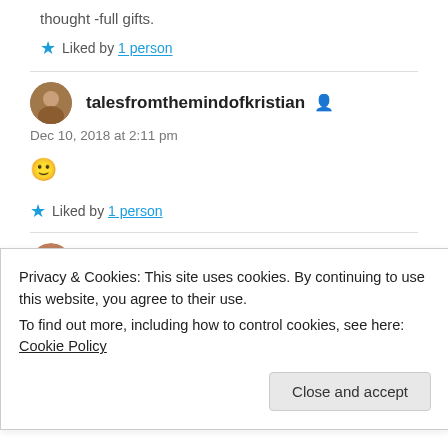thought -full gifts.
★ Liked by 1 person
talesfromthemindofkristian
Dec 10, 2018 at 2:11 pm
🙂
★ Liked by 1 person
Sadie
Privacy & Cookies: This site uses cookies. By continuing to use this website, you agree to their use. To find out more, including how to control cookies, see here: Cookie Policy
Close and accept